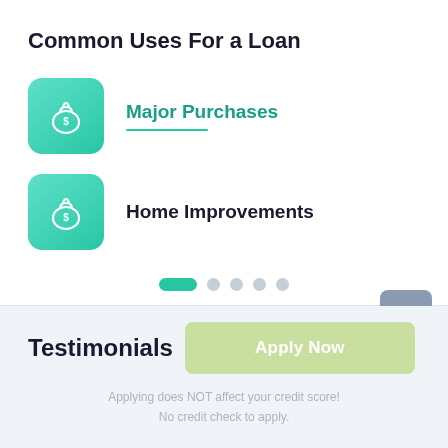Common Uses For a Loan
Major Purchases
Home Improvements
Testimonials
Apply Now
Applying does NOT affect your credit score! No credit check to apply.